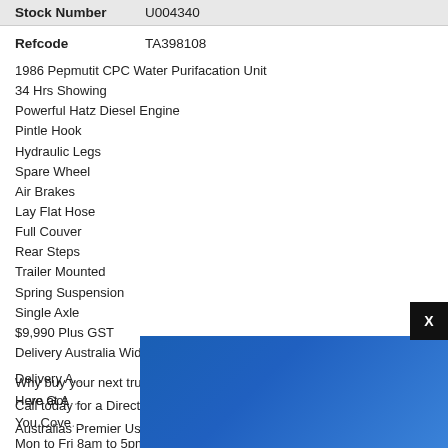| Stock Number | U004340 |
| --- | --- |
| Refcode | TA398108 |
| --- | --- |
1986 Pepmutit CPC Water Purifacation Unit
34 Hrs Showing
Powerful Hatz Diesel Engine
Pintle Hook
Hydraulic Legs
Spare Wheel
Air Brakes
Lay Flat Hose
Full Couver
Rear Steps
Trailer Mounted
Spring Suspension
Single Axle
$9,990 Plus GST
Delivery Australia Wide (Conditions Apply)
Why buy your next truck at Retail Pricing ?
Call today for a Direct to the Public Wholesale Price!
Australias Premier Used Truck , Plant & Machinery Dealer , open from Mon to Fri 8am to 5pm Saturday 8 am to 12 noon and by Phone 7 days per week from 7.30am to 9pm EST
Delivery A...
Here at A... We Got You Cove...